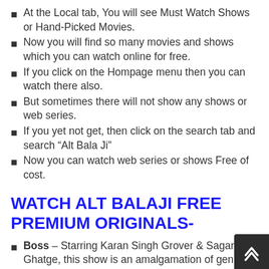At the Local tab, You will see Must Watch Shows or Hand-Picked Movies.
Now you will find so many movies and shows which you can watch online for free.
If you click on the Hompage menu then you can watch there also.
But sometimes there will not show any shows or web series.
If you yet not get, then click on the search tab and search “Alt Bala Ji”
Now you can watch web series or shows Free of cost.
WATCH ALT BALAJI FREE PREMIUM ORIGINALS-
Boss – Starring Karan Singh Grover & Sagarika Ghatge, this show is an amalgamation of genres